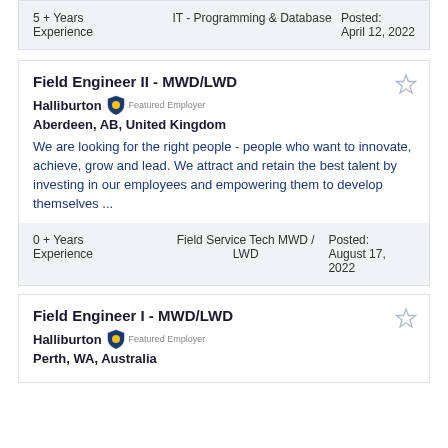5 + Years Experience | IT - Programming & Database | Posted: April 12, 2022
Field Engineer II - MWD/LWD
Halliburton Featured Employer
Aberdeen, AB, United Kingdom
We are looking for the right people - people who want to innovate, achieve, grow and lead. We attract and retain the best talent by investing in our employees and empowering them to develop themselves ...
0 + Years Experience | Field Service Tech MWD / LWD | Posted: August 17, 2022
Field Engineer I - MWD/LWD
Halliburton Featured Employer
Perth, WA, Australia